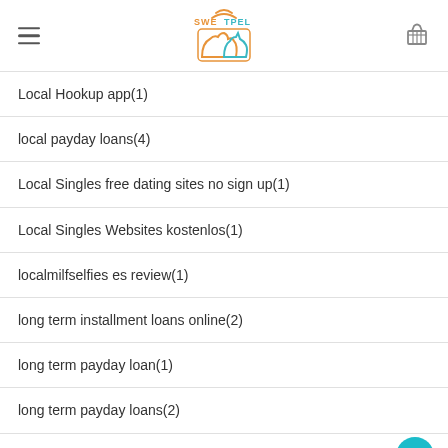Sweetpel logo with hamburger menu and basket icon
Local Hookup app(1)
local payday loans(4)
Local Singles free dating sites no sign up(1)
Local Singles Websites kostenlos(1)
localmilfselfies es review(1)
long term installment loans online(2)
long term payday loan(1)
long term payday loans(2)
long term payday loans online(1)
los angeles sugar daddy apps(1)